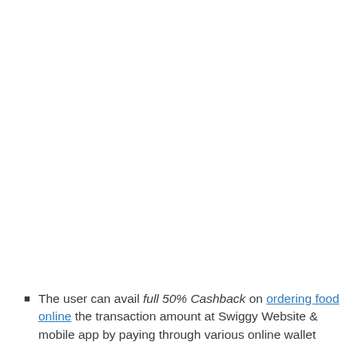The user can avail full 50% Cashback on ordering food online the transaction amount at Swiggy Website & mobile app by paying through various online wallet